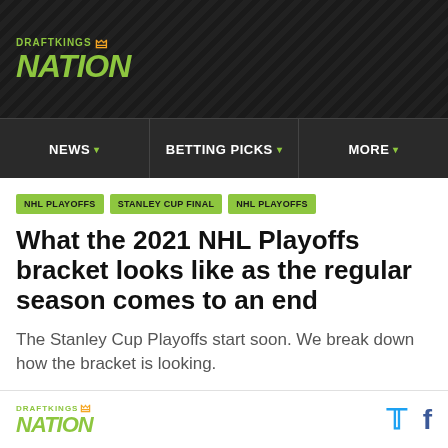[Figure (logo): DraftKings Nation logo in white/green on dark diagonal-striped background]
NEWS | BETTING PICKS | MORE
NHL PLAYOFFS
STANLEY CUP FINAL
NHL PLAYOFFS
What the 2021 NHL Playoffs bracket looks like as the regular season comes to an end
The Stanley Cup Playoffs start soon. We break down how the bracket is looking.
DraftKings Nation | Twitter | Facebook